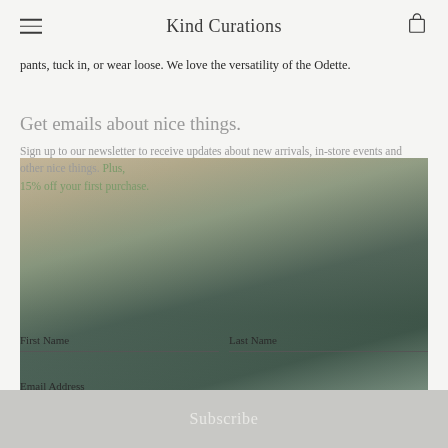Kind Curations
pants, tuck in, or wear loose. We love the versatility of the Odette.
Get emails about nice things.
Sign up to our newsletter to receive updates about new arrivals, in-store events and other nice things. Plus, 15% off your first purchase.
[Figure (photo): Woman sitting outdoors wearing a dark green loose button-up shirt and light blue jeans, holding a phone, with dappled light and a trellis background]
First Name
Last Name
Email Address
Subscribe